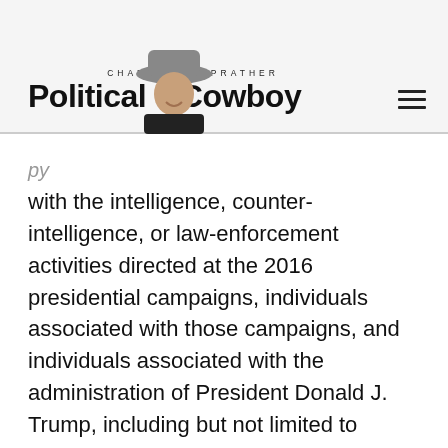CHAD PRATHER Political Cowboy
with the intelligence, counter-intelligence, or law-enforcement activities directed at the 2016 presidential campaigns, individuals associated with those campaigns, and individuals associated with the administration of President Donald J. Trump, including but not limited to Crossfire Hurricane and the investigation of Special Counsel Robert S. Mueller, III."